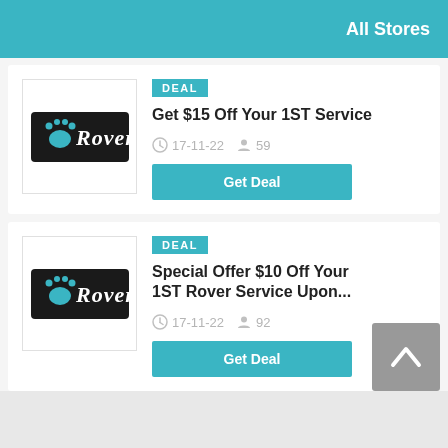All Stores
[Figure (logo): Rover logo - black background with paw print and italic white Rover text]
DEAL
Get $15 Off Your 1ST Service
17-11-22  59
Get Deal
[Figure (logo): Rover logo - black background with paw print and italic white Rover text]
DEAL
Special Offer $10 Off Your 1ST Rover Service Upon...
17-11-22  92
Get Deal